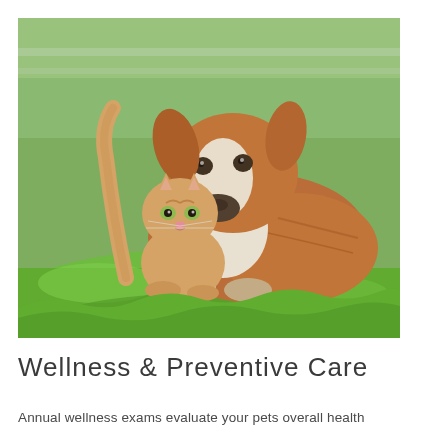[Figure (photo): A brown and white dog lying on green grass outdoors, with a small orange tabby kitten nestled between the dog's front legs. Both animals are looking toward the camera with a blurred green background.]
Wellness & Preventive Care
Annual wellness exams evaluate your pets overall health